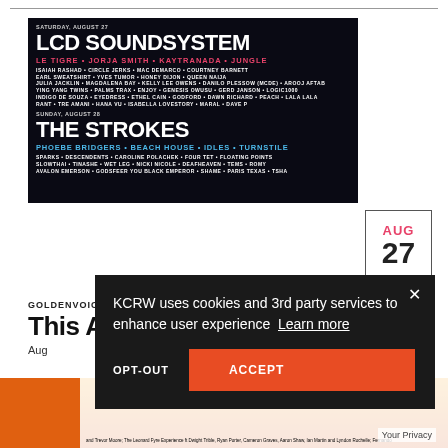[Figure (other): Festival poster for 'This Ain't No Picnic' festival on dark navy background. Saturday August 27: LCD Soundsystem headlining, followed by Le Tigre, Jorja Smith, Kaytranada, Jungle in pink, then Isaiah Rashad, Circle Jerks, Mac Demarco, Courtney Barnett, Earl Sweatshirt, Yves Tumor, Honey Dijon, Queen Naija, Julia Jacklin, Magdalena Bay, Kelly Lee Owens, Danilo Plessow, Arooj Aftab, Ying Yang Twins, Palms Trax, Enjoy, Genesis Owusu, Gerd Janson, Logic1000, Indigo De Souza, Eyedress, Ethel Cain, Godford, Dawn Richard, Peach, Lala Lala, Rant, Tre Amani, Hana Vu, Isabella Lovestory, Maral, Dave P. Sunday August 28: The Strokes headlining, followed by Phoebe Bridgers, Beach House, Idles, Turnstile in blue, Sparks, Descendents, Caroline Polachek, Four Tet, Floating Points, Slowthai, Tinashe, Wet Leg, Nicki Nicole, Deafheaven, Tems, Romy, Avalon Emerson, Godsfeer, You Black Emperor, Shame, Paris Texas, Tsha.]
[Figure (other): Date box showing AUG 27 in red and black on white background with border]
GOLDENVOICE
This Ain't No Picnic
Aug
[Figure (screenshot): Cookie consent banner on dark background: 'KCRW uses cookies and 3rd party services to enhance user experience Learn more' with OPT-OUT and ACCEPT buttons. Close X in top right.]
[Figure (photo): Partial bottom image showing orange/warm-toned festival imagery with small text credits mentioning Trevor Moore, The Leonard Fyre Experience, Dwight Trible, Ryan Porter, Cameron Graves, Aaron Shaw, Ian Martin, Lyndon Rochelle, Fernando]